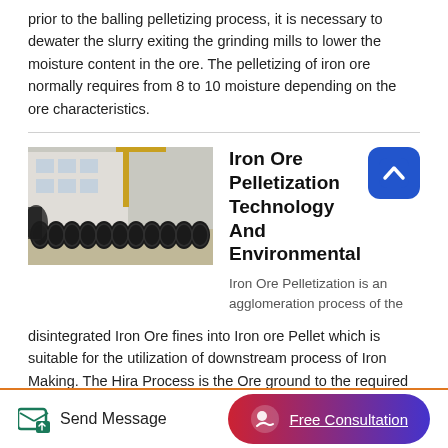prior to the balling pelletizing process, it is necessary to dewater the slurry exiting the grinding mills to lower the moisture content in the ore. The pelletizing of iron ore normally requires from 8 to 10 moisture depending on the ore characteristics.
[Figure (photo): Industrial machinery/equipment — rows of large black disc/ring components arranged on a factory floor, with a crane and industrial building in the background.]
Iron Ore Pelletization Technology And Environmental
Iron Ore Pelletization is an agglomeration process of the disintegrated Iron Ore fines into Iron ore Pellet which is suitable for the utilization of downstream process of Iron Making. The Hira Process is the Ore ground to the required
Send Message   Free Consultation